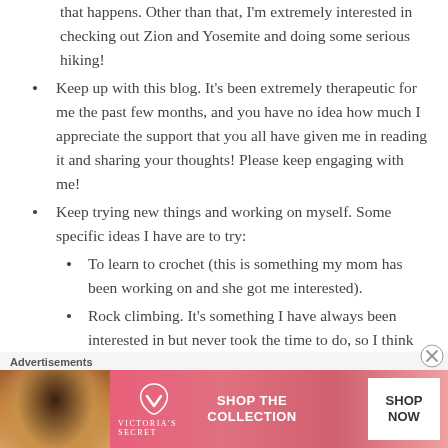that happens. Other than that, I'm extremely interested in checking out Zion and Yosemite and doing some serious hiking!
Keep up with this blog. It's been extremely therapeutic for me the past few months, and you have no idea how much I appreciate the support that you all have given me in reading it and sharing your thoughts! Please keep engaging with me!
Keep trying new things and working on myself. Some specific ideas I have are to try:
To learn to crochet (this is something my mom has been working on and she got me interested).
Rock climbing. It's something I have always been interested in but never took the time to do, so I think the time is now.
Advertisements
[Figure (other): Victoria's Secret advertisement banner with pink gradient background, woman's face on left, VS logo, text 'SHOP THE COLLECTION', and white 'SHOP NOW' button]